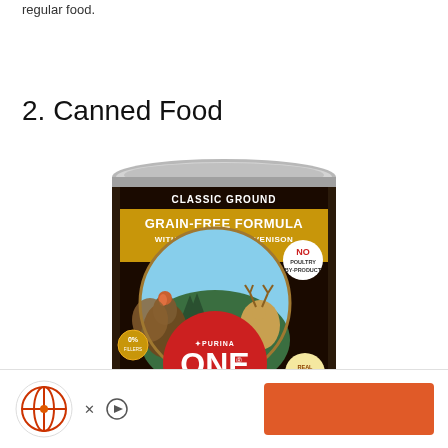regular food.
2. Canned Food
[Figure (photo): A can of Purina ONE SmartBlend Classic Ground Grain-Free Formula with Real Turkey & Venison dog food. The can has a dark label with gold/yellow banner showing the product name and a circular image of a wild turkey and deer in a forest setting. A white badge on the right side reads 'No Poultry By-Products'. The Purina ONE logo is prominently displayed in red and white.]
[Figure (logo): Advertisement bar at the bottom with a circular logo featuring a globe-like design with red and orange colors, 'X' and play button icons, and an orange-red rectangular button on the right side.]